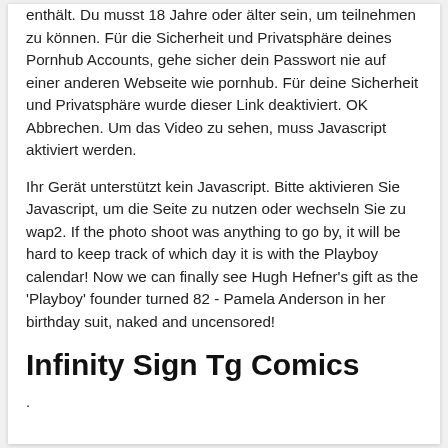enthält. Du musst 18 Jahre oder älter sein, um teilnehmen zu können. Für die Sicherheit und Privatsphäre deines Pornhub Accounts, gehe sicher dein Passwort nie auf einer anderen Webseite wie pornhub. Für deine Sicherheit und Privatsphäre wurde dieser Link deaktiviert. OK Abbrechen. Um das Video zu sehen, muss Javascript aktiviert werden.
Ihr Gerät unterstützt kein Javascript. Bitte aktivieren Sie Javascript, um die Seite zu nutzen oder wechseln Sie zu wap2. If the photo shoot was anything to go by, it will be hard to keep track of which day it is with the Playboy calendar! Now we can finally see Hugh Hefner's gift as the 'Playboy' founder turned 82 - Pamela Anderson in her birthday suit, naked and uncensored!
Infinity Sign Tg Comics
.